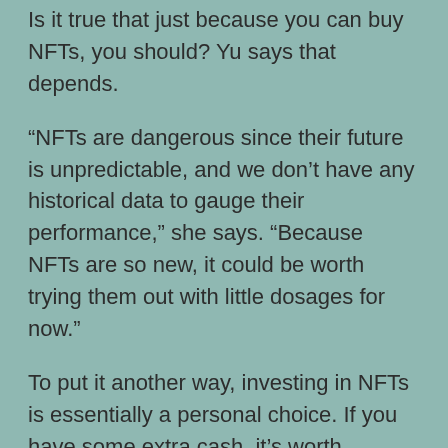Is it true that just because you can buy NFTs, you should? Yu says that depends.
“NFTs are dangerous since their future is unpredictable, and we don’t have any historical data to gauge their performance,” she says. “Because NFTs are so new, it could be worth trying them out with little dosages for now.”
To put it another way, investing in NFTs is essentially a personal choice. If you have some extra cash, it’s worth considering, especially if the piece has sentimental value for you.